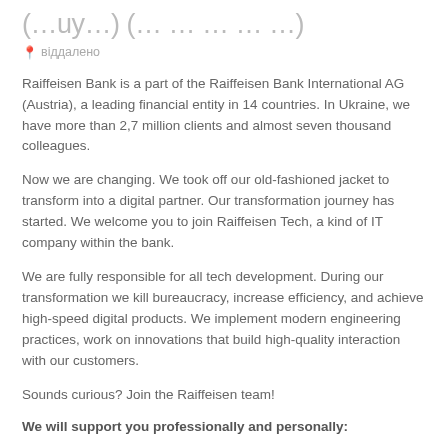(…uy…) (… … … … …)
віддалено
Raiffeisen Bank is a part of the Raiffeisen Bank International AG (Austria), a leading financial entity in 14 countries. In Ukraine, we have more than 2,7 million clients and almost seven thousand colleagues.
Now we are changing. We took off our old-fashioned jacket to transform into a digital partner. Our transformation journey has started. We welcome you to join Raiffeisen Tech, a kind of IT company within the bank.
We are fully responsible for all tech development. During our transformation we kill bureaucracy, increase efficiency, and achieve high-speed digital products. We implement modern engineering practices, work on innovations that build high-quality interaction with our customers.
Sounds curious? Join the Raiffeisen team!
We will support you professionally and personally: